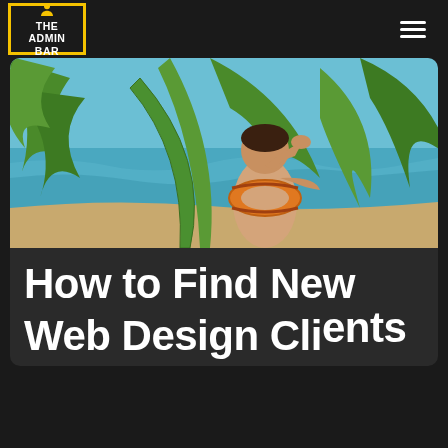THE ADMIN BAR
[Figure (photo): A heavyset man at a beach wearing an orange life preserver ring around his neck, shielding his eyes with his hand, surrounded by tropical foliage with ocean in the background]
How to Find New Web Design Clients